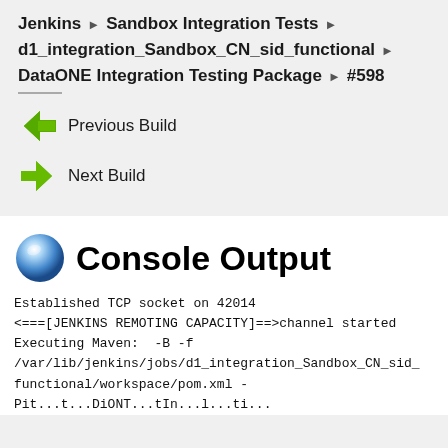Jenkins > Sandbox Integration Tests > d1_integration_Sandbox_CN_sid_functional > DataONE Integration Testing Package > #598
Previous Build
Next Build
Console Output
Established TCP socket on 42014
<===[JENKINS REMOTING CAPACITY]===>channel started
Executing Maven:  -B -f
/var/lib/jenkins/jobs/d1_integration_Sandbox_CN_sid_functional/workspace/pom.xml -
Dit...